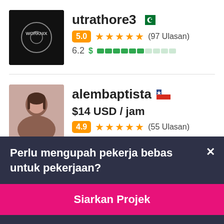[Figure (screenshot): Freelancer profile for utrathore3 with Pakistan flag, 5.0 rating badge, 5 orange stars, (97 Ulasan), score 6.2 with green bar indicator, and Worknix logo avatar]
[Figure (screenshot): Freelancer profile for alembaptista with Chile flag, female photo avatar, $14 USD / jam price, 4.9 rating badge, 5 orange stars, (55 Ulasan), partial score row]
Perlu mengupah pekerja bebas untuk pekerjaan?
Siarkan Projek